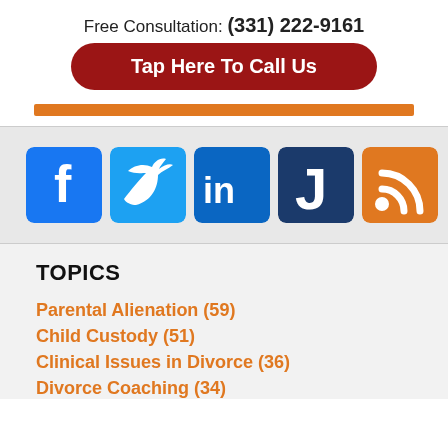Free Consultation: (331) 222-9161
Tap Here To Call Us
[Figure (infographic): Social media icons: Facebook, Twitter, LinkedIn, Justia, RSS feed]
TOPICS
Parental Alienation (59)
Child Custody (51)
Clinical Issues in Divorce (36)
Divorce Coaching (34)